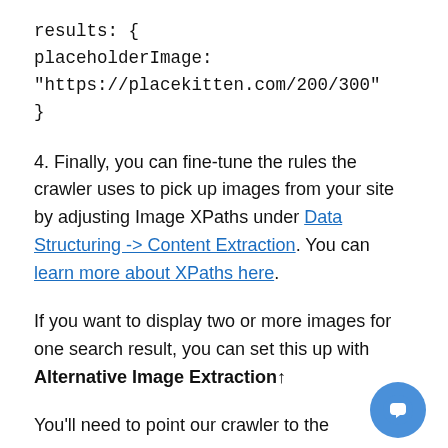results: {
placeholderImage:
"https://placekitten.com/200/300"
}
4. Finally, you can fine-tune the rules the crawler uses to pick up images from your site by adjusting Image XPaths under Data Structuring -> Content Extraction. You can learn more about XPaths here.
If you want to display two or more images for one search result, you can set this up with Alternative Image Extraction↑
You'll need to point our crawler to the